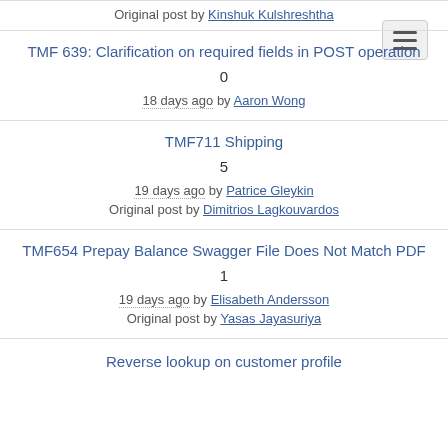[Figure (other): Hamburger menu button in top-right corner]
Original post by Kinshuk Kulshreshtha
TMF 639: Clarification on required fields in POST operation
0
18 days ago by Aaron Wong
TMF711 Shipping
5
19 days ago by Patrice Gleykin
Original post by Dimitrios Lagkouvardos
TMF654 Prepay Balance Swagger File Does Not Match PDF
1
19 days ago by Elisabeth Andersson
Original post by Yasas Jayasuriya
Reverse lookup on customer profile